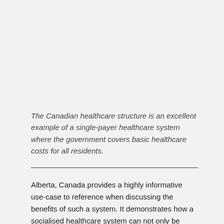The Canadian healthcare structure is an excellent example of a single-payer healthcare system where the government covers basic healthcare costs for all residents.
Alberta, Canada provides a highly informative use-case to reference when discussing the benefits of such a system. It demonstrates how a socialised healthcare system can not only be highly beneficial for patients, but also a pragmatic and sustainable choice for providers as well.